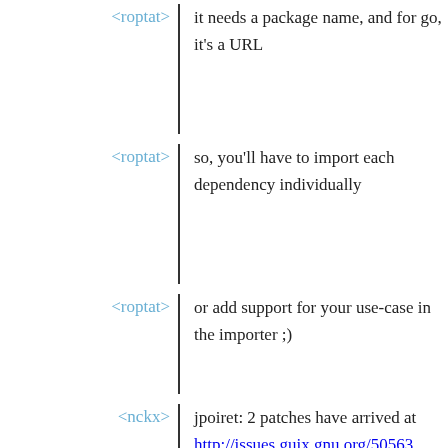<roptat> it needs a package name, and for go, it's a URL
<roptat> so, you'll have to import each dependency individually
<roptat> or add support for your use-case in the importer ;)
<nckx> jpoiret: 2 patches have arrived at http://issues.guix.gnu.org/50563 (which is not moderated) and in my inbox (for forwarding to all